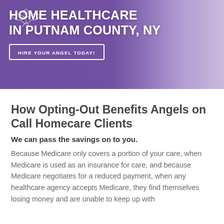[Figure (photo): Banner image showing a healthcare worker assisting an elderly man, with purple/violet overlay gradient and Angels on Call logo icon. Text overlay reads 'HOME HEALTHCARE IN PUTNAM COUNTY, NY' with a button 'HIRE YOUR ANGEL TODAY!']
How Opting-Out Benefits Angels on Call Homecare Clients
We can pass the savings on to you.
Because Medicare only covers a portion of your care, when Medicare is used as an insurance for care, and because Medicare negotiates for a reduced payment, when any healthcare agency accepts Medicare, they find themselves losing money and are unable to keep up with